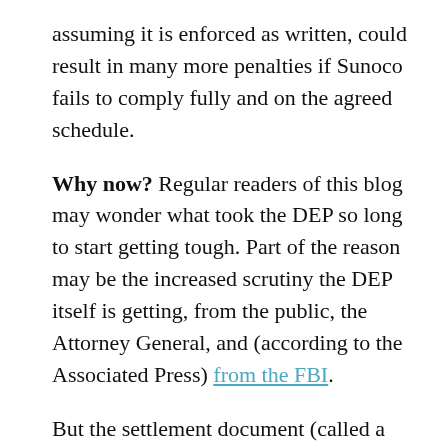assuming it is enforced as written, could result in many more penalties if Sunoco fails to comply fully and on the agreed schedule.
Why now? Regular readers of this blog may wonder what took the DEP so long to start getting tough. Part of the reason may be the increased scrutiny the DEP itself is getting, from the public, the Attorney General, and (according to the Associated Press) from the FBI.
But the settlement document (called a “Consent Order and Agreement”, and available here) suggests a growing frustration at the DEP with Sunoco’s failure to cooperate in the months following the Beaver County explosion. Sunoco seems to have assumed it could continue to ignore the DEP’s regulations with impunity.